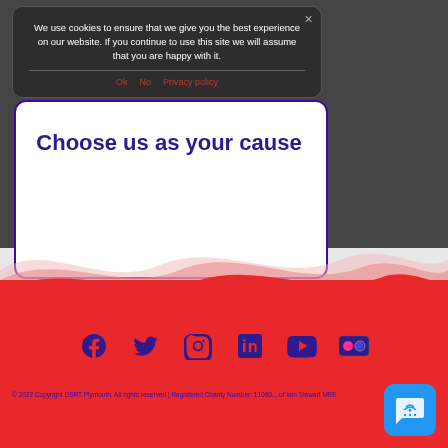[Figure (screenshot): Website screenshot showing a cookie consent popup overlay over a charity page. The popup says 'We use cookies to ensure that we give you the best experience on our website. If you continue to use this site we will assume that you are happy with it.' with links: Ok, No, Privacy policy. Behind it is a box with 'Choose us as your cause' in purple text. Below is a red footer with social media icons (Facebook, Twitter, Instagram, LinkedIn, YouTube, Flickr) and copyright text '© 2022 Copyright DSRT Plymouth. All rights reserved | Registered Charity Number: 1106... of Iain Stewart MBE'. A blue chat widget appears at bottom right.]